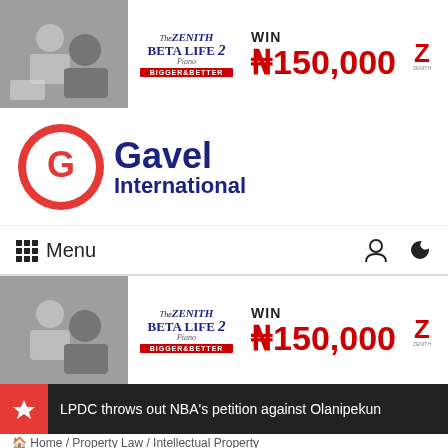[Figure (screenshot): Zenith Bank Beta Life 2 advertisement banner - WIN ₦150,000]
[Figure (logo): Gavel International logo with red G icon and blue text]
Menu
[Figure (screenshot): Zenith Bank Beta Life 2 advertisement banner - WIN ₦150,000]
LPDC throws out NBA's petition against Olanipekun
[Figure (screenshot): Zenith Bank Beta Life 2 advertisement banner - WIN ₦150,000]
Home / Property Law / Intellectual Property